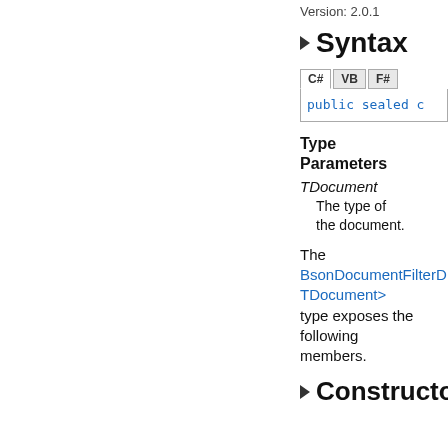Version: 2.0.1
Syntax
public sealed c
Type Parameters
TDocument
    The type of the document.
The BsonDocumentFilterD TDocument> type exposes the following members.
Constructors